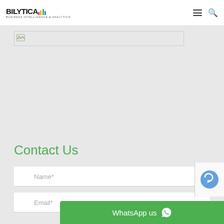BILYTICA [logo with bar chart icons] — navigation header with hamburger menu and search icon
[Figure (photo): Broken/loading image placeholder — a small broken image icon inside a light gray rectangle with border]
Contact Us
Name*
Email*
[Figure (other): reCAPTCHA widget partially visible in bottom-right corner]
WhatsApp us